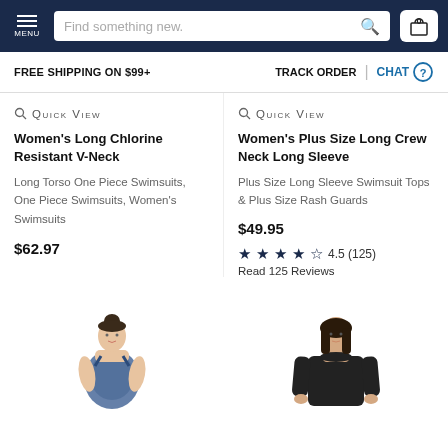MENU | Find something new. | Cart 0
FREE SHIPPING ON $99+  TRACK ORDER | CHAT
QUICK VIEW
Women's Long Chlorine Resistant V-Neck
Long Torso One Piece Swimsuits, One Piece Swimsuits, Women's Swimsuits
$62.97
QUICK VIEW
Women's Plus Size Long Crew Neck Long Sleeve
Plus Size Long Sleeve Swimsuit Tops & Plus Size Rash Guards
$49.95
4.5 (125) Read 125 Reviews
[Figure (photo): Two product images: left shows a woman in a patterned swimsuit, right shows a woman in a black long sleeve top]